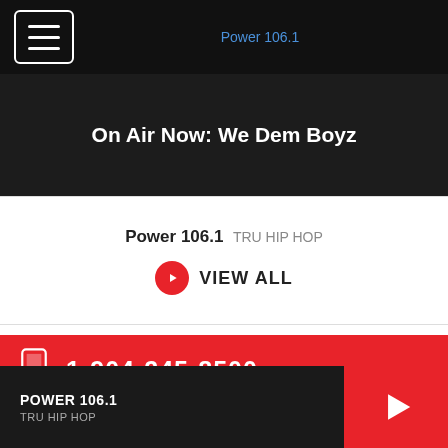Power 106.1
[Figure (screenshot): On Air Now: We Dem Boyz banner image]
Power 106.1  TRU HIP HOP
VIEW ALL
1-904-245-8500
78°
12
POWER 106.1  TRU HIP HOP